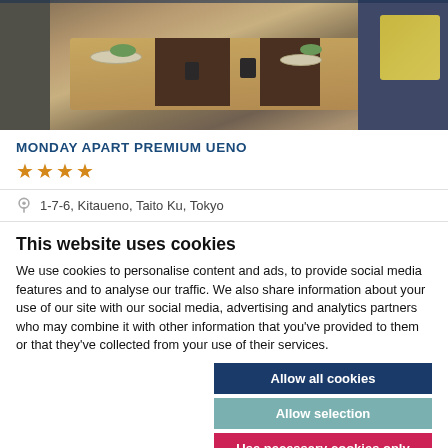[Figure (photo): Interior photo of a dining/living area with a wooden table set with plates and bowls, a dark sofa, and a yellow pillow in the background]
MONDAY APART PREMIUM UENO
★★★★
1-7-6, Kitaueno, Taito Ku, Tokyo
This website uses cookies
We use cookies to personalise content and ads, to provide social media features and to analyse our traffic. We also share information about your use of our site with our social media, advertising and analytics partners who may combine it with other information that you've provided to them or that they've collected from your use of their services.
Allow all cookies
Allow selection
Use necessary cookies only
Necessary  Preferences  Statistics  Marketing  Show details